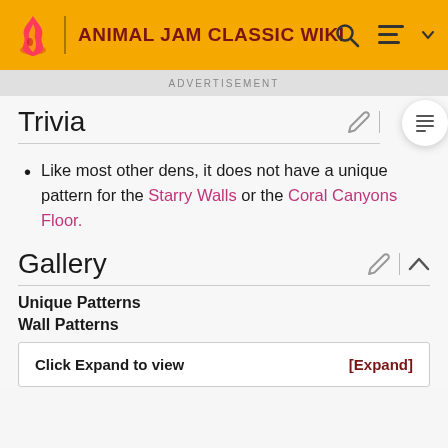ANIMAL JAM CLASSIC WIKI
ADVERTISEMENT
Trivia
Like most other dens, it does not have a unique pattern for the Starry Walls or the Coral Canyons Floor.
Gallery
Unique Patterns
Wall Patterns
Click Expand to view [Expand]